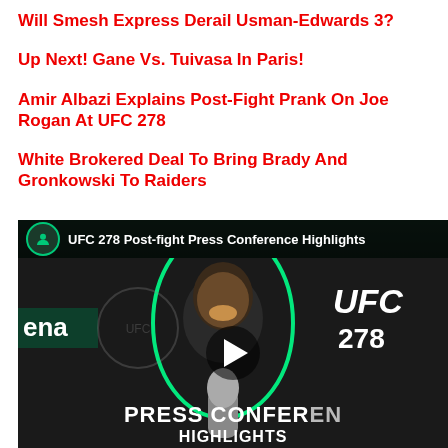Will Smesh Express Derail Usman-Edwards 3?
Up Next! Gane Vs. Tuivasa In Paris!
Amir Albazi Explains Post-Fight Prank On Joe Rogan At UFC 278
White Brokered Deal To Bring Brady And Gronkowski To Raiders
[Figure (screenshot): Video thumbnail for 'UFC 278 Post-fight Press Conference Highlights' showing a man smiling at a press conference with UFC branding, with a play button overlay. Green neon outline around the person. Text overlays: 'ena', 'UFC 278', 'PRESS CONFERENCE', 'HIGHLIGHTS'.]